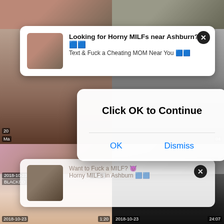[Figure (screenshot): Screenshot of a pornographic video thumbnail website with browser notification popups and a modal dialog overlay saying 'Click OK to Continue']
Looking for Horny MILFs near Ashburn?
Text & Fuck a Cheating MOM Near You
Want to Fuck a MILF? Horny MILFs in Ashburn
Click OK to Continue
OK
Dismiss
2018-10-23
13:11
BLACKED 18 Ye
2018-10-23
1:20
2018-10-23
24:07